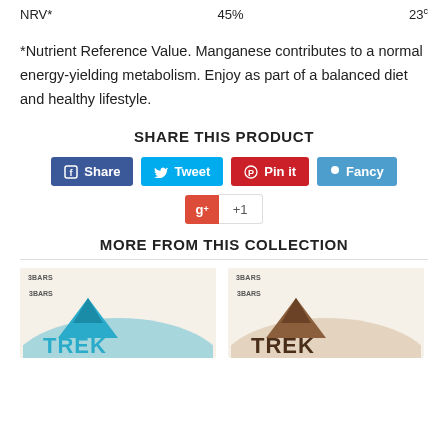NRV*   45%   23
*Nutrient Reference Value. Manganese contributes to a normal energy-yielding metabolism. Enjoy as part of a balanced diet and healthy lifestyle.
SHARE THIS PRODUCT
[Figure (infographic): Social share buttons: Facebook Share, Twitter Tweet, Pinterest Pin it, Fancy, Google+1]
MORE FROM THIS COLLECTION
[Figure (photo): Two Trek bar product images side by side, each labeled 3BARS with Trek logo]